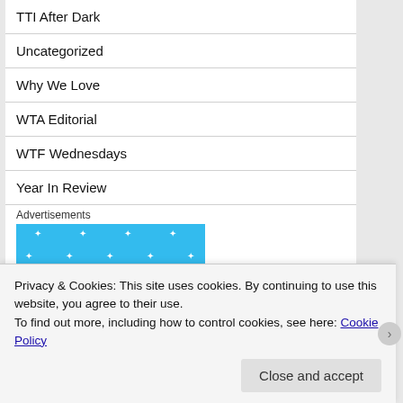TTI After Dark
Uncategorized
Why We Love
WTA Editorial
WTF Wednesdays
Year In Review
Advertisements
[Figure (other): Blue advertisement placeholder box with sparkle/cross decorations]
Privacy & Cookies: This site uses cookies. By continuing to use this website, you agree to their use.
To find out more, including how to control cookies, see here: Cookie Policy
Close and accept